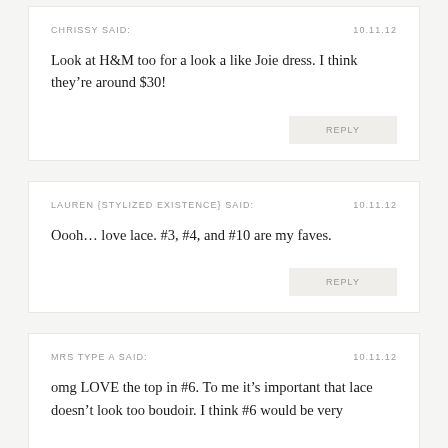CHRISSY SAID:    10.11.12
Look at H&M too for a look a like Joie dress. I think they're around $30!
LAUREN {STYLIZED EXISTENCE} SAID:    10.11.12
Oooh… love lace. #3, #4, and #10 are my faves.
MRS TYPE A SAID:    10.11.12
omg LOVE the top in #6. To me it's important that lace doesn't look too boudoir. I think #6 would be very